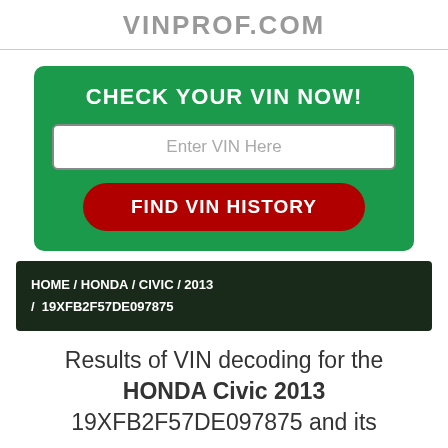VINPROF.COM
[Figure (screenshot): Green VIN check widget with title 'CHECK YOUR VIN NOW!', text input placeholder 'Enter VIN Here', and a red 'FIND VIN HISTORY' button]
HOME / HONDA / CIVIC / 2013 / 19XFB2F57DE097875
Results of VIN decoding for the HONDA Civic 2013 19XFB2F57DE097875 and its